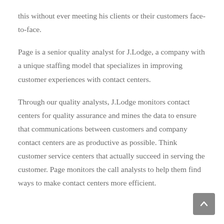this without ever meeting his clients or their customers face-to-face.
Page is a senior quality analyst for J.Lodge, a company with a unique staffing model that specializes in improving customer experiences with contact centers.
Through our quality analysts, J.Lodge monitors contact centers for quality assurance and mines the data to ensure that communications between customers and company contact centers are as productive as possible. Think customer service centers that actually succeed in serving the customer. Page monitors the call analysts to help them find ways to make contact centers more efficient.